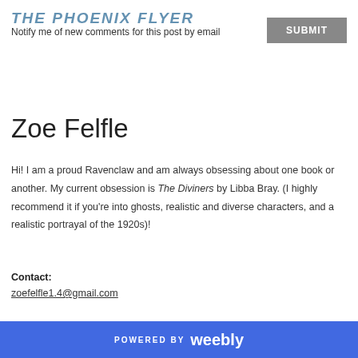THE PHOENIX FLYER
Notify me of new comments for this post by email
Zoe Felfle
Hi! I am a proud Ravenclaw and am always obsessing about one book or another. My current obsession is The Diviners by Libba Bray. (I highly recommend it if you're into ghosts, realistic and diverse characters, and a realistic portrayal of the 1920s)!
Contact:
zoefelfle1.4@gmail.com
POWERED BY weebly